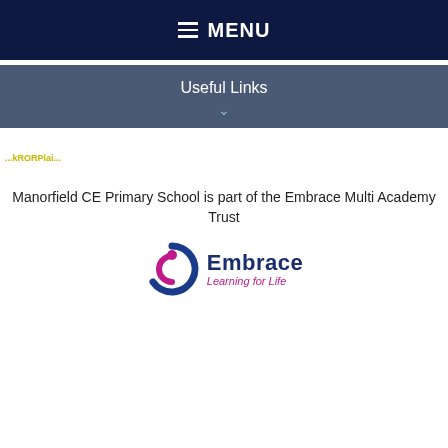MENU
Useful Links
[Figure (logo): Small ribbon/award logo in yellow-green text at top left of white section]
Manorfield CE Primary School is part of the Embrace Multi Academy Trust
[Figure (logo): Embrace Learning for Life logo with circular 'e' icon in blue and pink, and text 'Embrace Learning for Life']